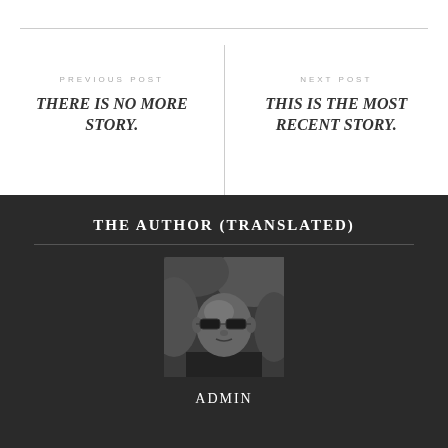PREVIOUS POST
THERE IS NO MORE STORY.
NEXT POST
THIS IS THE MOST RECENT STORY.
THE AUTHOR (TRANSLATED)
[Figure (photo): Black and white portrait photo of a man wearing glasses and a dark turtleneck, looking slightly downward]
ADMIN